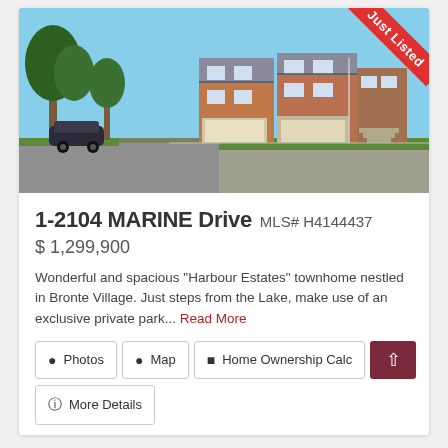[Figure (photo): Exterior photo of a brick townhome complex at 1-2104 Marine Drive, with trees, driveway, and 'Just Listed' ribbon in top-right corner]
1-2104 MARINE Drive  MLS# H4144437
$ 1,299,900
Wonderful and spacious "Harbour Estates" townhome nestled in Bronte Village. Just steps from the Lake, make use of an exclusive private park... Read More